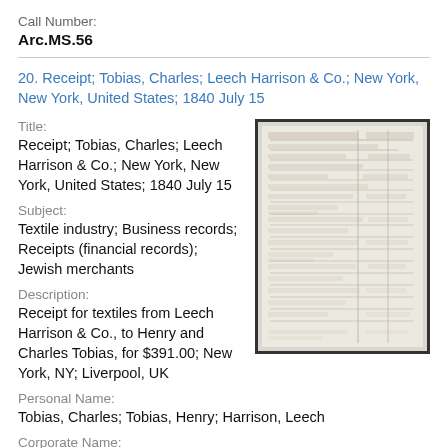Call Number:
Arc.MS.56
20. Receipt; Tobias, Charles; Leech Harrison & Co.; New York, New York, United States; 1840 July 15
Title:
Receipt; Tobias, Charles; Leech Harrison & Co.; New York, New York, United States; 1840 July 15
Subject:
Textile industry; Business records; Receipts (financial records); Jewish merchants
[Figure (photo): Scanned image of a historical handwritten receipt document from 1840]
Description:
Receipt for textiles from Leech Harrison & Co., to Henry and Charles Tobias, for $391.00; New York, NY; Liverpool, UK
Personal Name:
Tobias, Charles; Tobias, Henry; Harrison, Leech
Corporate Name: